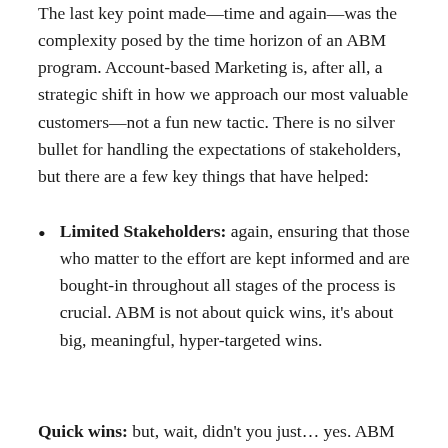The last key point made—time and again—was the complexity posed by the time horizon of an ABM program. Account-based Marketing is, after all, a strategic shift in how we approach our most valuable customers—not a fun new tactic. There is no silver bullet for handling the expectations of stakeholders, but there are a few key things that have helped:
Limited Stakeholders: again, ensuring that those who matter to the effort are kept informed and are bought-in throughout all stages of the process is crucial. ABM is not about quick wins, it's about big, meaningful, hyper-targeted wins.
Quick wins: but, wait, didn't you just… yes. ABM